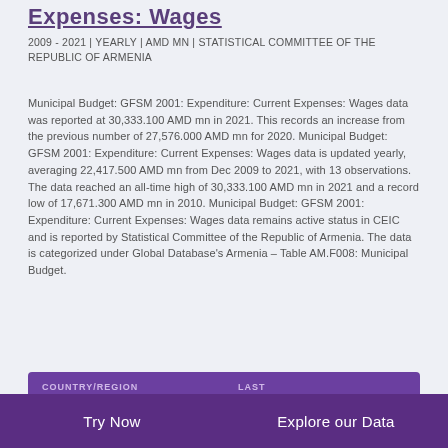Expenses: Wages
2009 - 2021 | YEARLY | AMD MN | STATISTICAL COMMITTEE OF THE REPUBLIC OF ARMENIA
Municipal Budget: GFSM 2001: Expenditure: Current Expenses: Wages data was reported at 30,333.100 AMD mn in 2021. This records an increase from the previous number of 27,576.000 AMD mn for 2020. Municipal Budget: GFSM 2001: Expenditure: Current Expenses: Wages data is updated yearly, averaging 22,417.500 AMD mn from Dec 2009 to 2021, with 13 observations. The data reached an all-time high of 30,333.100 AMD mn in 2021 and a record low of 17,671.300 AMD mn in 2010. Municipal Budget: GFSM 2001: Expenditure: Current Expenses: Wages data remains active status in CEIC and is reported by Statistical Committee of the Republic of Armenia. The data is categorized under Global Database's Armenia – Table AM.F008: Municipal Budget.
| COUNTRY/REGION | LAST |
| --- | --- |
Try Now | Explore our Data